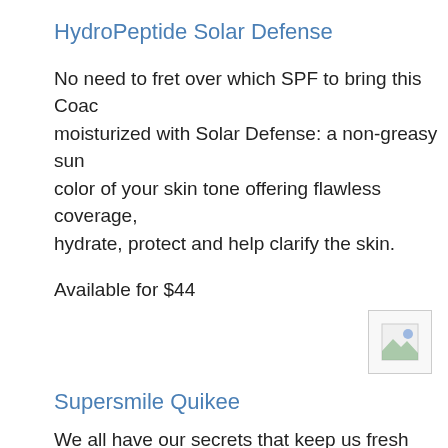HydroPeptide Solar Defense
No need to fret over which SPF to bring this Coac moisturized with Solar Defense: a non-greasy sun color of your skin tone offering flawless coverage, hydrate, protect and help clarify the skin.
Available for $44
[Figure (photo): Small broken/placeholder image icon]
Supersmile Quikee
We all have our secrets that keep us fresh while s hours a day jamming out to our favorite band. Sup stain removing formula with Calprox guarantees w Coachella-ready selfie!) and fresher breath withou